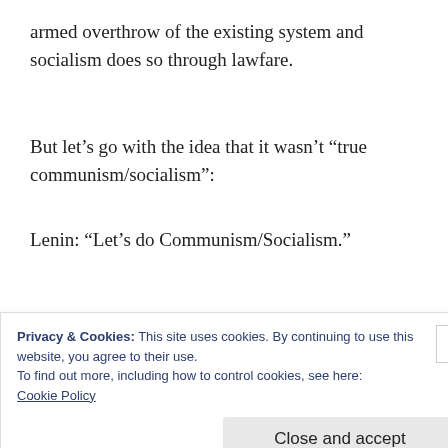armed overthrow of the existing system and socialism does so through lawfare.
But let’s go with the idea that it wasn’t “true communism/socialism”:
Lenin: “Let’s do Communism/Socialism.”
Privacy & Cookies: This site uses cookies. By continuing to use this website, you agree to their use.
To find out more, including how to control cookies, see here:
Cookie Policy
Close and accept